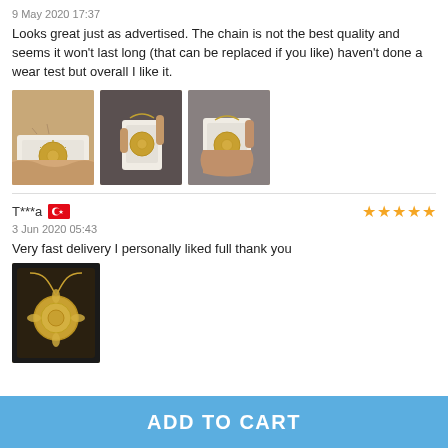9 May 2020 17:37
Looks great just as advertised. The chain is not the best quality and seems it won't last long (that can be replaced if you like) haven't done a wear test but overall I like it.
[Figure (photo): Three photos of a necklace with sunflower/medallion pendant on packaging card, held in hand]
T***a
[Figure (other): Turkish flag icon]
[Figure (other): 5 star rating in orange stars]
3 Jun 2020 05:43
Very fast delivery I personally liked full thank you
[Figure (photo): Photo of gold necklace with sunflower pendant in black display box]
ADD TO CART